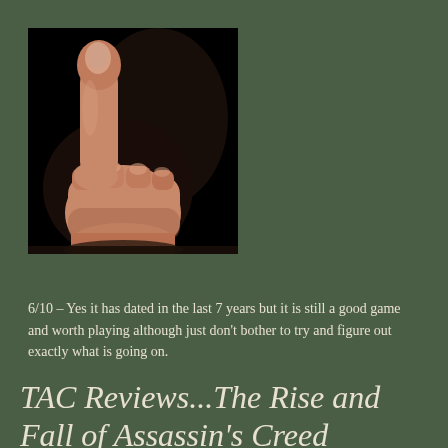[Figure (photo): A hand giving a thumbs up gesture against a black background, skin-toned hand with fist curled and thumb pointing upward]
6/10 – Yes it has dated in the last 7 years but it is still a good game and worth playing although just don't bother to try and figure out exactly what is going on.
TAC Reviews...The Rise and Fall of Assassin's Creed